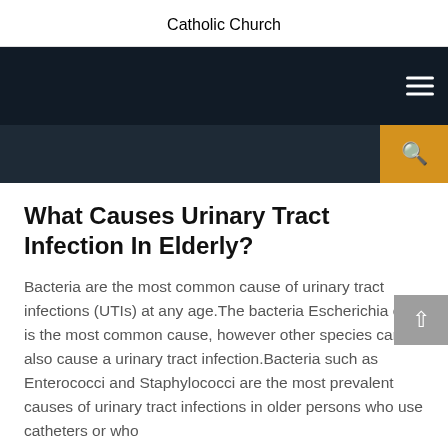Catholic Church
What Causes Urinary Tract Infection In Elderly?
Bacteria are the most common cause of urinary tract infections (UTIs) at any age.The bacteria Escherichia coli is the most common cause, however other species can also cause a urinary tract infection.Bacteria such as Enterococci and Staphylococci are the most prevalent causes of urinary tract infections in older persons who use catheters or who